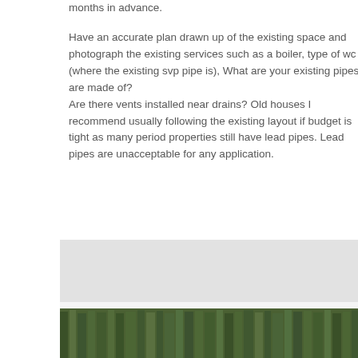months in advance.
Have an accurate plan drawn up of the existing space and photograph the existing services such as a boiler, type of wc (where the existing svp pipe is), What are your existing pipes are made of?
Are there vents installed near drains? Old houses I recommend usually following the existing layout if budget is tight as many period properties still have lead pipes. Lead pipes are unacceptable for any application.
[Figure (photo): A photo showing what appears to be a white bowl or basin with green herbs or plants visible at the bottom edge of the frame.]